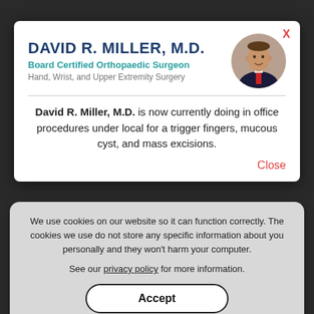[Figure (screenshot): Webpage screenshot showing two overlapping modal dialogs on a dark background. Top modal: doctor profile card for David R. Miller M.D. with photo. Bottom modal: cookie consent notice.]
DAVID R. MILLER, M.D.
Board Certified Orthopaedic Surgeon
Hand, Wrist, and Upper Extremity Surgery
David R. Miller, M.D. is now currently doing in office procedures under local for a trigger fingers, mucous cyst, and mass excisions.
We use cookies on our website so it can function correctly. The cookies we use do not store any specific information about you personally and they won't harm your computer.
See our privacy policy for more information.